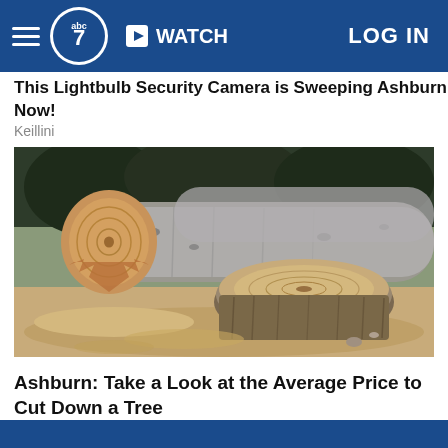ABC7 — WATCH — LOG IN
This Lightbulb Security Camera is Sweeping Ashburn Now!
Keillini
[Figure (photo): A felled birch tree log and a tree stump on sandy ground, showing cut cross-sections of wood]
Ashburn: Take a Look at the Average Price to Cut Down a Tree
Tree Removal | Search Ads